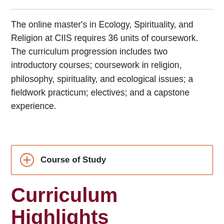The online master's in Ecology, Spirituality, and Religion at CIIS requires 36 units of coursework. The curriculum progression includes two introductory courses; coursework in religion, philosophy, spirituality, and ecological issues; a fieldwork practicum; electives; and a capstone experience.
Course of Study
Curriculum Highlights